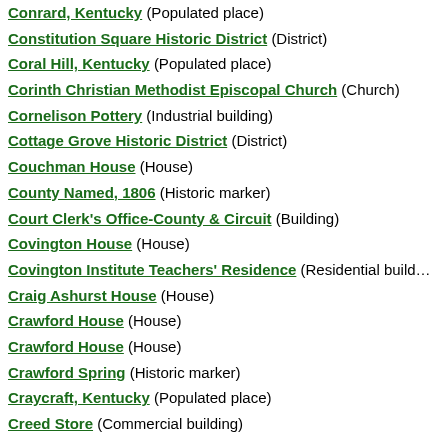Conrard, Kentucky (Populated place)
Constitution Square Historic District (District)
Coral Hill, Kentucky (Populated place)
Corinth Christian Methodist Episcopal Church (Church)
Cornelison Pottery (Industrial building)
Cottage Grove Historic District (District)
Couchman House (House)
County Named, 1806 (Historic marker)
Court Clerk's Office-County & Circuit (Building)
Covington House (House)
Covington Institute Teachers' Residence (Residential building)
Craig Ashurst House (House)
Crawford House (House)
Crawford House (House)
Crawford Spring (Historic marker)
Craycraft, Kentucky (Populated place)
Creed Store (Commercial building)